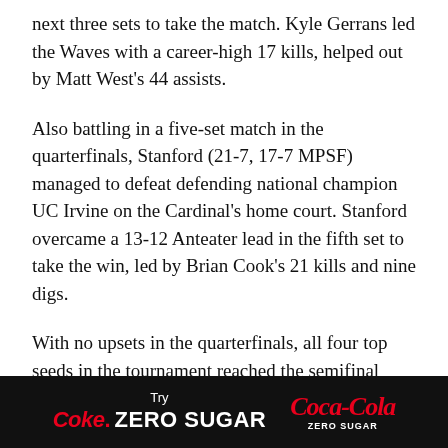next three sets to take the match. Kyle Gerrans led the Waves with a career-high 17 kills, helped out by Matt West's 44 assists.
Also battling in a five-set match in the quarterfinals, Stanford (21-7, 17-7 MPSF) managed to defeat defending national champion UC Irvine on the Cardinal's home court. Stanford overcame a 13-12 Anteater lead in the fifth set to take the win, led by Brian Cook's 21 kills and nine digs.
With no upsets in the quarterfinals, all four top seeds in the tournament reached the semifinal matches this season.
WATCH: BYU's Courtney Wayment sets
[Figure (other): Advertisement banner: Try Coke Zero Sugar / Coca-Cola Zero Sugar logo on black background]